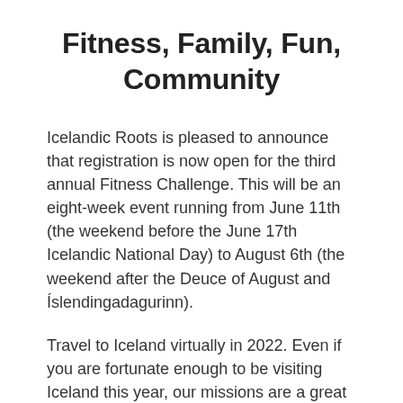Fitness, Family, Fun, Community
Icelandic Roots is pleased to announce that registration is now open for the third annual Fitness Challenge. This will be an eight-week event running from June 11th (the weekend before the June 17th Icelandic National Day) to August 6th (the weekend after the Deuce of August and Íslendingadagurinn).
Travel to Iceland virtually in 2022. Even if you are fortunate enough to be visiting Iceland this year, our missions are a great way to see and